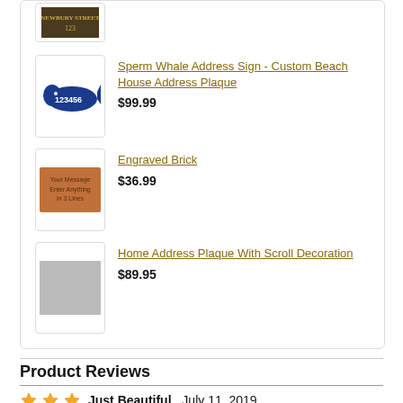[Figure (screenshot): Product listing showing partial top item (address sign with dark background), Sperm Whale Address Sign custom beach house address plaque $99.99, Engraved Brick $36.99, Home Address Plaque With Scroll Decoration $89.95]
Product Reviews
Just Beautiful, July 11, 2019
Posted by: Monica Hannigan - verified customer  Location: Floral Park, NY  How often do you shop at Comfort House: first time
Great quality and size. It just looks so nice on my house! Easy to install onto